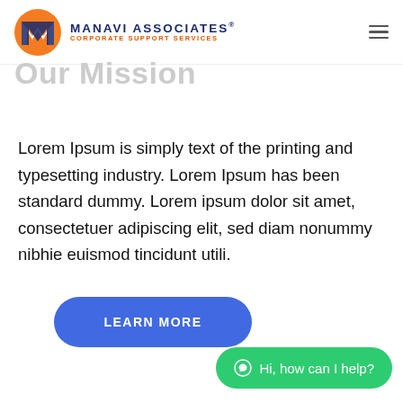Manavi Associates — Corporate Support Services
Our Mission
Lorem Ipsum is simply text of the printing and typesetting industry. Lorem Ipsum has been standard dummy. Lorem ipsum dolor sit amet, consectetuer adipiscing elit, sed diam nonummy nibhie euismod tincidunt utili.
LEARN MORE
Hi, how can I help?